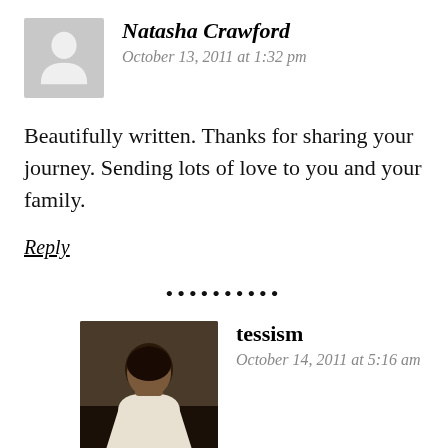[Figure (illustration): Gray placeholder avatar silhouette icon]
Natasha Crawford
October 13, 2011 at 1:32 pm
Beautifully written. Thanks for sharing your journey. Sending lots of love to you and your family.
Reply
• • • • • • • • •
[Figure (photo): Photo of tessism commenter]
tessism
October 14, 2011 at 5:16 am
Thank you Natasha. Sending you love right back!